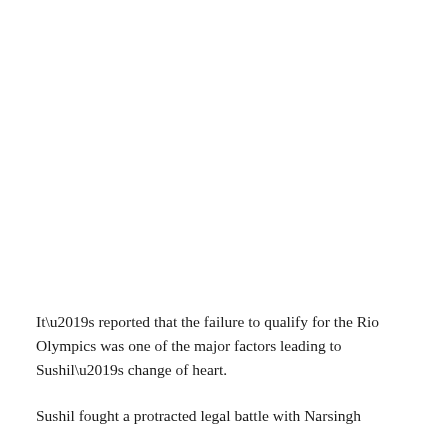It’s reported that the failure to qualify for the Rio Olympics was one of the major factors leading to Sushil’s change of heart.
Sushil fought a protracted legal battle with Narsingh